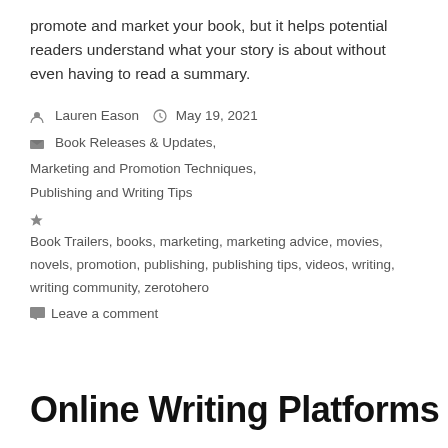promote and market your book, but it helps potential readers understand what your story is about without even having to read a summary.
Lauren Eason   May 19, 2021
Book Releases & Updates,
Marketing and Promotion Techniques,
Publishing and Writing Tips
Book Trailers, books, marketing, marketing advice, movies, novels, promotion, publishing, publishing tips, videos, writing, writing community, zerotohero
Leave a comment
Online Writing Platforms